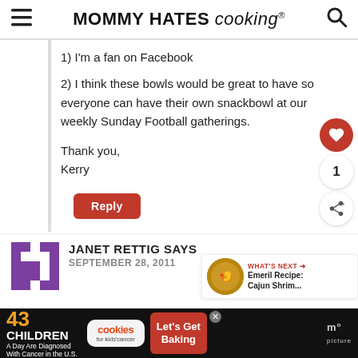MOMMY HATES cooking
1) I'm a fan on Facebook
2) I think these bowls would be great to have so everyone can have their own snackbowl at our weekly Sunday Football gatherings.
Thank you,
Kerry
Reply
JANET RETTIG SAYS
SEPTEMBER 28, 2011
[Figure (infographic): Advertisement banner: 43 CHILDREN A Day Are Diagnosed With Cancer in the U.S. - cookies for kids cancer - Let's Get Baking]
[Figure (other): WHAT'S NEXT arrow - Emeril Recipe: Cajun Shrim...]